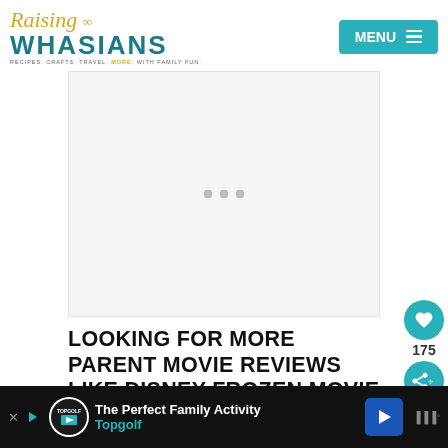Raising Whasians | RECIPES. CRAFTS. TRAVEL. MORE. WITH FAMILY FUN.
[Figure (screenshot): Advertisement placeholder area with three gray dots centered on light gray background]
LOOKING FOR MORE PARENT MOVIE REVIEWS LIKE DISNEY FROZEN MOVIE REVIEW | SAFE FOR KIDS? CHECK OUT
[Figure (infographic): Bottom advertisement bar for Topgolf - The Perfect Family Activity, with logo, arrow icon, and mute/audio controls]